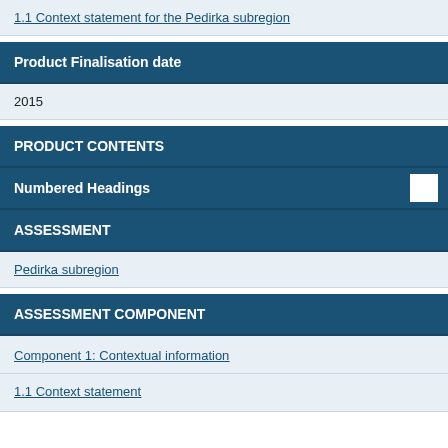1.1 Context statement for the Pedirka subregion
Product Finalisation date
2015
PRODUCT CONTENTS
Numbered Headings
ASSESSMENT
Pedirka subregion
ASSESSMENT COMPONENT
Component 1: Contextual information
1.1 Context statement